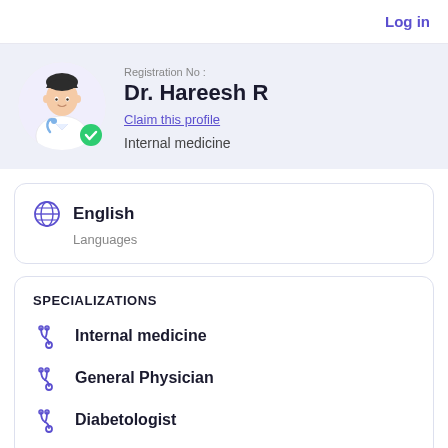Log in
Registration No :
Dr. Hareesh R
Claim this profile
Internal medicine
English
Languages
SPECIALIZATIONS
Internal medicine
General Physician
Diabetologist